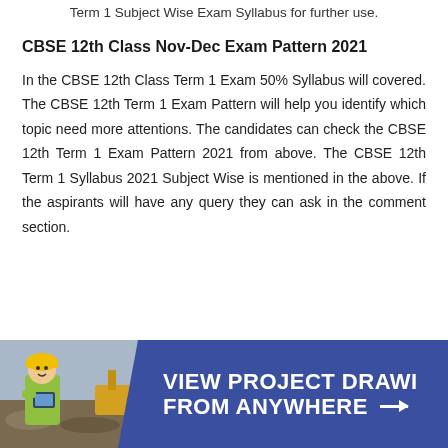Term 1 Subject Wise Exam Syllabus for further use.
CBSE 12th Class Nov-Dec Exam Pattern 2021
In the CBSE 12th Class Term 1 Exam 50% Syllabus will covered. The CBSE 12th Term 1 Exam Pattern will help you identify which topic need more attentions. The candidates can check the CBSE 12th Term 1 Exam Pattern 2021 from above. The CBSE 12th Term 1 Syllabus 2021 Subject Wise is mentioned in the above. If the aspirants will have any query they can ask in the comment section.
[Figure (photo): Advertisement banner with a construction worker wearing a yellow helmet and green vest, holding a tablet, with blue background and text 'VIEW PROJECT DRAWINGS FROM ANYWHERE']